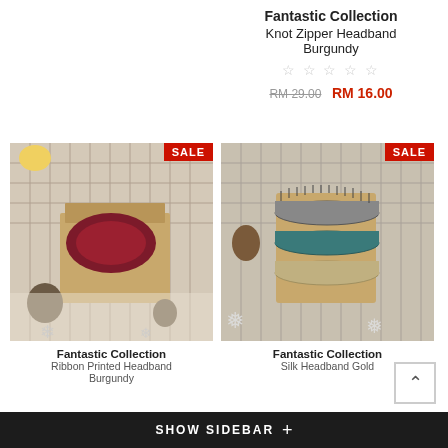Fantastic Collection
Knot Zipper Headband Burgundy
☆ ☆ ☆ ☆ ☆
RM 29.00  RM 16.00
[Figure (photo): A burgundy knot zipper headband in a kraft paper gift box on a wooden surface with pinecones. SALE badge in top right corner.]
[Figure (photo): Multiple zipper headbands stacked on a kraft paper card on a decorative surface. SALE badge in top right corner.]
Fantastic Collection
Ribbon Printed Headband Burgundy
Fantastic Collection
Silk Headband Gold
SHOW SIDEBAR +